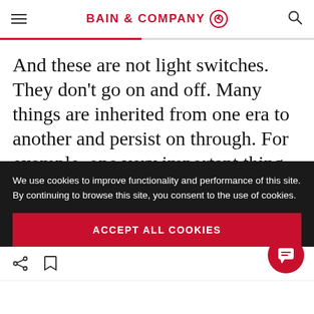BAIN & COMPANY
And these are not light switches. They don't go on and off. Many things are inherited from one era to another and persist on through. For example, one very important thing that is not going to change in the firm of the future are the fundamental ways in which companies win in
We use cookies to improve functionality and performance of this site. By continuing to browse this site, you consent to the use of cookies.
ACCEPT ALL COOKIES